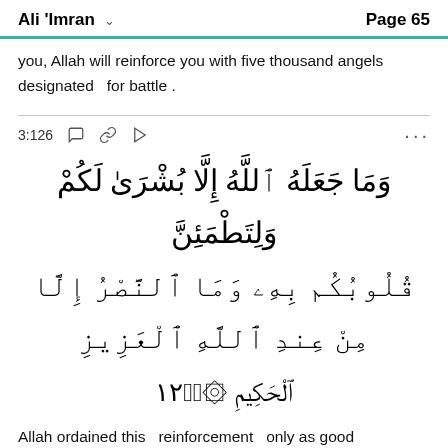Ali 'Imran  Page 65
you, Allah will reinforce you with five thousand angels designated   for battle .
3:126
[Figure (other): Arabic Quranic verse 3:126 in large Arabic script]
Allah ordained this   reinforcement   only as good